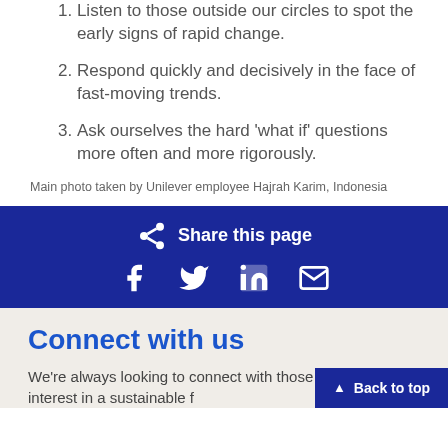1. Listen to those outside our circles to spot the early signs of rapid change.
2. Respond quickly and decisively in the face of fast-moving trends.
3. Ask ourselves the hard 'what if' questions more often and more rigorously.
Main photo taken by Unilever employee Hajrah Karim, Indonesia
Share this page
Connect with us
We're always looking to connect with those who share an interest in a sustainable f…